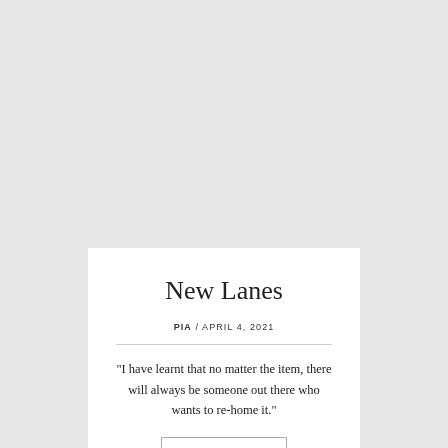New Lanes
PIA / APRIL 4, 2021
“I have learnt that no matter the item, there will always be someone out there who wants to re-home it.”
VIEW MORE